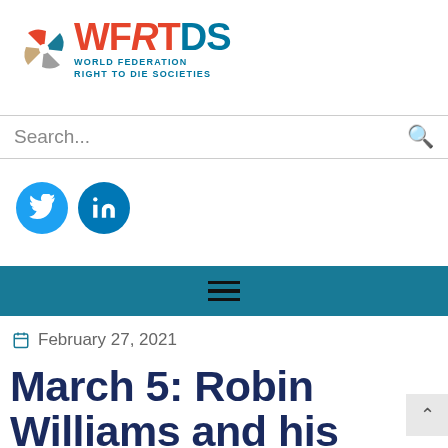[Figure (logo): WFRTDS World Federation Right to Die Societies logo with colorful fan icon]
Search...
[Figure (other): Twitter and LinkedIn social media icons as blue circular buttons]
[Figure (other): Teal navigation bar with hamburger menu icon]
February 27, 2021
March 5: Robin Williams and his Batt with Lewy Body